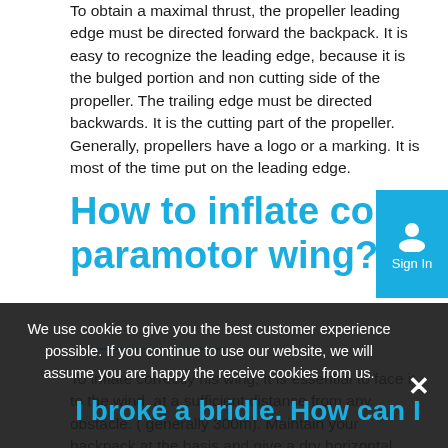To obtain a maximal thrust, the propeller leading edge must be directed forward the backpack. It is easy to recognize the leading edge, because it is the bulged portion and non cutting side of the propeller. The trailing edge must be directed backwards. It is the cutting part of the propeller. Generally, propellers have a logo or a marking. It is most of the time put on the leading edge.
How to inflate correctly his RC paramotor wing?
[Figure (other): Sign In button box with user icon in teal/blue color]
To inflate correctly his wing, it is essential to face it to the wind, at a sufficient distance from any obstacle. ( generally 300m). Maintain your backpack at the basis and give a dry horizontal pulse while accompanying the rise of the wing. Throw smoothly the backpack straight aw...
We use cookie to give you the best customer experience possible. If you continue to use our website, we will assume you are happy the receive cookies from us.
I broke a bridle. How can I